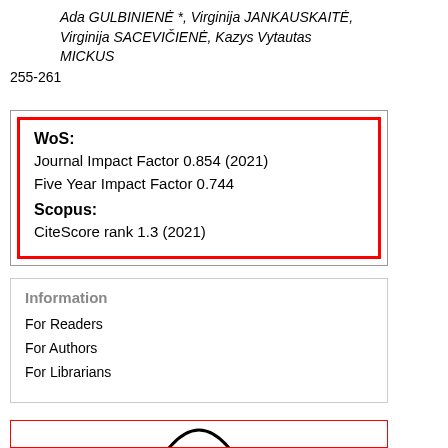Ada GULBINIENĖ *, Virginija JANKAUSKAITĖ, Virginija SACEVIČIENĖ, Kazys Vytautas MICKUS
255-261
[Figure (infographic): Box with red border inside gray border containing WoS and Scopus impact factor information: WoS: Journal Impact Factor 0.854 (2021), Five Year Impact Factor 0.744, Scopus: CiteScore rank 1.3 (2021)]
Information
For Readers
For Authors
For Librarians